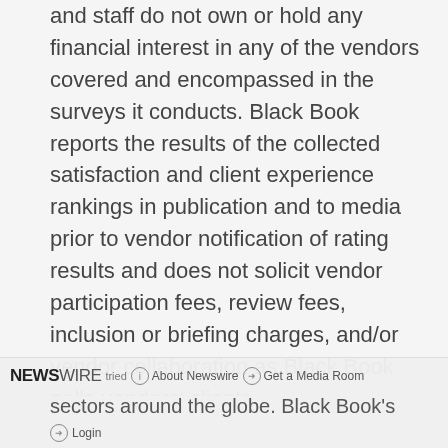and staff do not own or hold any financial interest in any of the vendors covered and encompassed in the surveys it conducts. Black Book reports the results of the collected satisfaction and client experience rankings in publication and to media prior to vendor notification of rating results and does not solicit vendor participation fees, review fees, inclusion or briefing charges, and/or vendor collaboration as Black Book polls vendors' clients.
Since 2000, Black Book™ has polled the vendor satisfaction across over 30 sectors around the globe. Black Book's
NEWSWIRE | About Newswire | Get a Media Room | Login